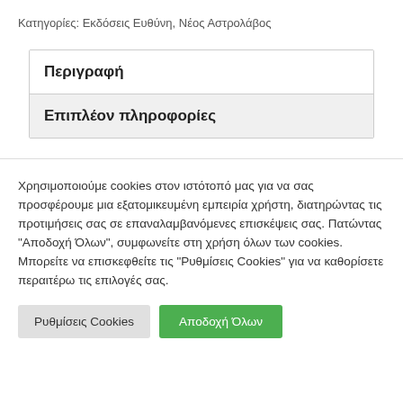Κατηγορίες: Εκδόσεις Ευθύνη, Νέος Αστρολάβος
Περιγραφή
Επιπλέον πληροφορίες
Χρησιμοποιούμε cookies στον ιστότοπό μας για να σας προσφέρουμε μια εξατομικευμένη εμπειρία χρήστη, διατηρώντας τις προτιμήσεις σας σε επαναλαμβανόμενες επισκέψεις σας. Πατώντας "Αποδοχή Όλων", συμφωνείτε στη χρήση όλων των cookies. Μπορείτε να επισκεφθείτε τις "Ρυθμίσεις Cookies" για να καθορίσετε περαιτέρω τις επιλογές σας.
Ρυθμίσεις Cookies
Αποδοχή Όλων